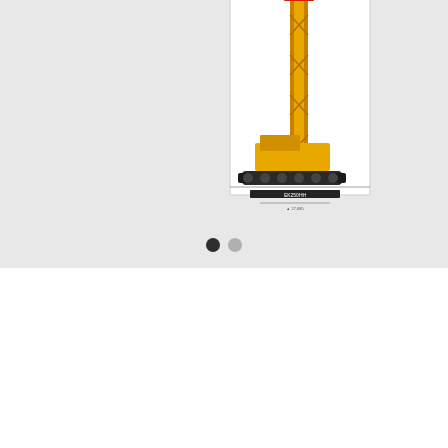[Figure (illustration): A construction crane/drilling rig machine shown from the side, partially cropped at top. The machine has a tall yellow mast/boom against a white diagram background. The image is clipped showing only the lower portion of the crane with the undercarriage visible. Below the main image area are two navigation dots (one filled dark, one light gray) indicating a carousel/slideshow.]
EK250HH
Photo Gallery